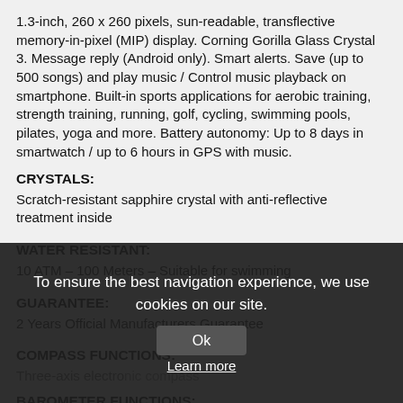1.3-inch, 260 x 260 pixels, sun-readable, transflective memory-in-pixel (MIP) display. Corning Gorilla Glass Crystal 3. Message reply (Android only). Smart alerts. Save (up to 500 songs) and play music / Control music playback on smartphone. Built-in sports applications for aerobic training, strength training, running, golf, cycling, swimming pools, pilates, yoga and more. Battery autonomy: Up to 8 days in smartwatch / up to 6 hours in GPS with music.
CRYSTALS:
Scratch-resistant sapphire crystal with anti-reflective treatment inside
WATER RESISTANT:
10 ATM – 100 Meters – Suitable for swimming
GUARANTEE:
2 Years Official Manufacturers Guarantee
COMPASS FUNCTIONS:
Three-axis electronic compass
BAROMETER FUNCTIONS:
Digital barometric pressure sensor detection.
FUNCTIONS ALTITUDE:
To ensure the best navigation experience, we use cookies on our site.
Ok
Learn more